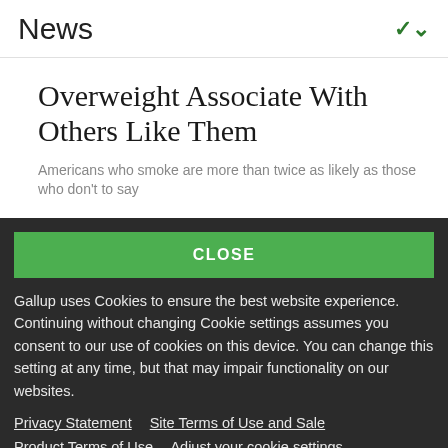News
Overweight Associate With Others Like Them
Americans who smoke are more than twice as likely as those who don't to say
CLOSE
Gallup uses Cookies to ensure the best website experience. Continuing without changing Cookie settings assumes you consent to our use of cookies on this device. You can change this setting at any time, but that may impair functionality on our websites.
Privacy Statement   Site Terms of Use and Sale
Product Terms of Use   Adjust your cookie settings.